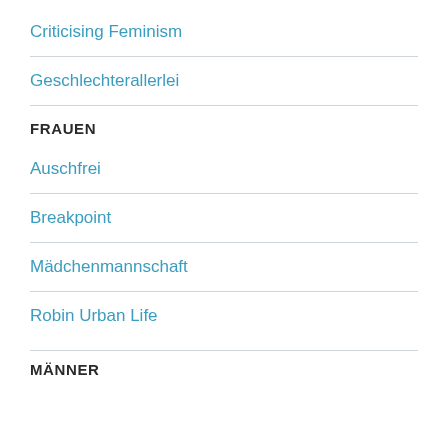Criticising Feminism
Geschlechterallerlei
FRAUEN
Auschfrei
Breakpoint
Mädchenmannschaft
Robin Urban Life
MÄNNER